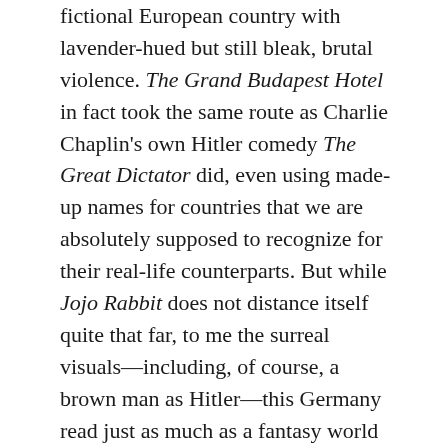fictional European country with lavender-hued but still bleak, brutal violence. The Grand Budapest Hotel in fact took the same route as Charlie Chaplin's own Hitler comedy The Great Dictator did, even using made-up names for countries that we are absolutely supposed to recognize for their real-life counterparts. But while Jojo Rabbit does not distance itself quite that far, to me the surreal visuals—including, of course, a brown man as Hitler—this Germany read just as much as a fantasy world version of a place where very real horrors took place as Anderson's Zubrowka.
Which is another thing I liked: I think fantasizing (by which I do not mean romanticizing) real historical traumas can be an affective and productive artistic enterprise. Genre films, your horrors and supernatural tales and high fantasies and sci-fi and the like, have